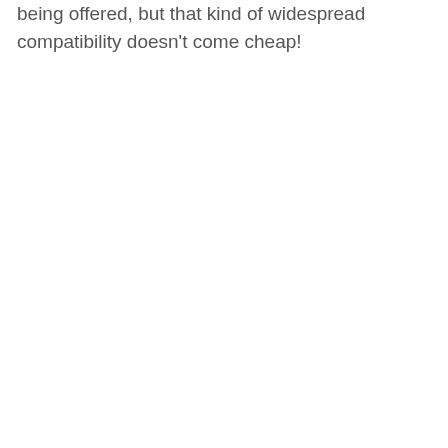being offered, but that kind of widespread compatibility doesn't come cheap!